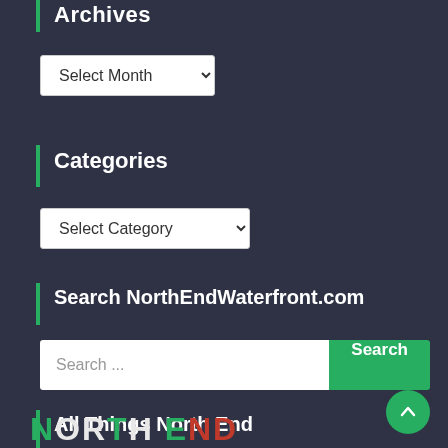Archives
Select Month (dropdown)
Categories
Select Category (dropdown)
Search NorthEndWaterfront.com
Search ... [Search button]
All Things North End
[Figure (logo): NorthEnd logo text in green, white, and red colors]